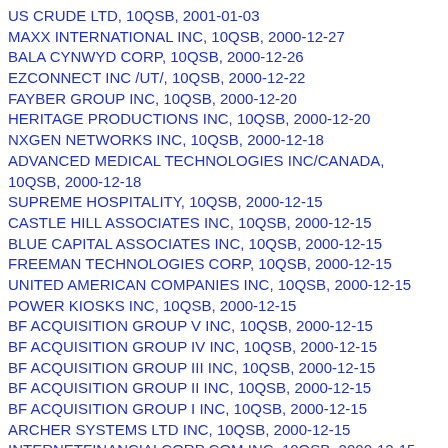US CRUDE LTD, 10QSB, 2001-01-03
MAXX INTERNATIONAL INC, 10QSB, 2000-12-27
BALA CYNWYD CORP, 10QSB, 2000-12-26
EZCONNECT INC /UT/, 10QSB, 2000-12-22
FAYBER GROUP INC, 10QSB, 2000-12-20
HERITAGE PRODUCTIONS INC, 10QSB, 2000-12-20
NXGEN NETWORKS INC, 10QSB, 2000-12-18
ADVANCED MEDICAL TECHNOLOGIES INC/CANADA, 10QSB, 2000-12-18
SUPREME HOSPITALITY, 10QSB, 2000-12-15
CASTLE HILL ASSOCIATES INC, 10QSB, 2000-12-15
BLUE CAPITAL ASSOCIATES INC, 10QSB, 2000-12-15
FREEMAN TECHNOLOGIES CORP, 10QSB, 2000-12-15
UNITED AMERICAN COMPANIES INC, 10QSB, 2000-12-15
POWER KIOSKS INC, 10QSB, 2000-12-15
BF ACQUISITION GROUP V INC, 10QSB, 2000-12-15
BF ACQUISITION GROUP IV INC, 10QSB, 2000-12-15
BF ACQUISITION GROUP III INC, 10QSB, 2000-12-15
BF ACQUISITION GROUP II INC, 10QSB, 2000-12-15
BF ACQUISITION GROUP I INC, 10QSB, 2000-12-15
ARCHER SYSTEMS LTD INC, 10QSB, 2000-12-15
INTERNETFINANCIALCORP COM INC, 10QSB, 2000-12-15
CENTRAL VISIONS INC, 10QSB, 2000-12-14
POINT BLANK CONCEPTS INC, 10QSB, 2000-12-14
BRASS INC, 10QSB, 2000-12-14